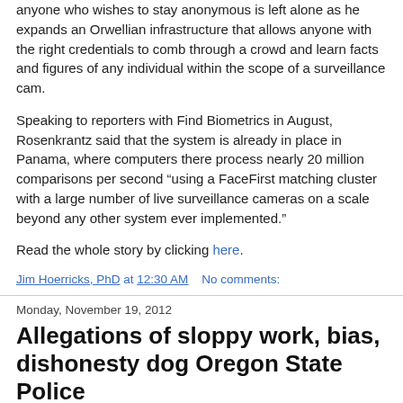anyone who wishes to stay anonymous is left alone as he expands an Orwellian infrastructure that allows anyone with the right credentials to comb through a crowd and learn facts and figures of any individual within the scope of a surveillance cam.
Speaking to reporters with Find Biometrics in August, Rosenkrantz said that the system is already in place in Panama, where computers there process nearly 20 million comparisons per second “using a FaceFirst matching cluster with a large number of live surveillance cameras on a scale beyond any other system ever implemented.”
Read the whole story by clicking here.
Jim Hoerricks, PhD at 12:30 AM    No comments:
Monday, November 19, 2012
Allegations of sloppy work, bias, dishonesty dog Oregon State Police laboratory site...